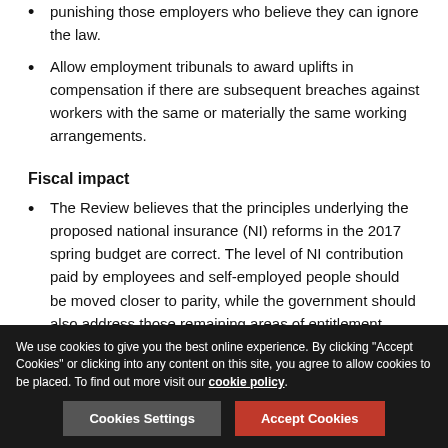punishing those employers who believe they can ignore the law.
Allow employment tribunals to award uplifts in compensation if there are subsequent breaches against workers with the same or materially the same working arrangements.
Fiscal impact
The Review believes that the principles underlying the proposed national insurance (NI) reforms in the 2017 spring budget are correct. The level of NI contribution paid by employees and self-employed people should be moved closer to parity, while the government should also address those remaining areas of entitlement – parental leave in particular – where self-employed
We use cookies to give you the best online experience. By clicking "Accept Cookies" or clicking into any content on this site, you agree to allow cookies to be placed. To find out more visit our cookie policy.